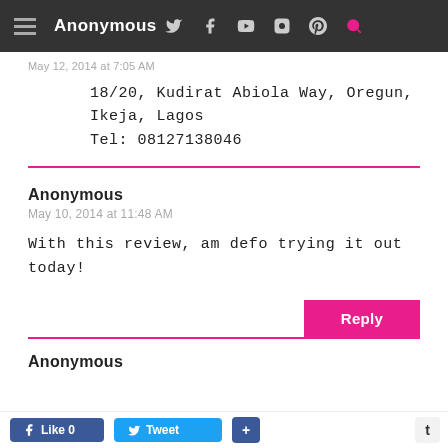Anonymous
May 12, 2014 at 7:05 AM
18/20, Kudirat Abiola Way, Oregun, Ikeja, Lagos
Tel: 08127138046
Anonymous
May 10, 2014 at 11:48 AM
With this review, am defo trying it out today!
Reply
Anonymous
Like 0  Tweet  +  t